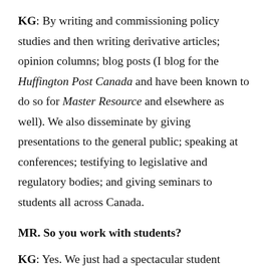KG: By writing and commissioning policy studies and then writing derivative articles; opinion columns; blog posts (I blog for the Huffington Post Canada and have been known to do so for Master Resource and elsewhere as well). We also disseminate by giving presentations to the general public; speaking at conferences; testifying to legislative and regulatory bodies; and giving seminars to students all across Canada.
MR. So you work with students?
KG: Yes. We just had a spectacular student seminar in Vancouver attended by 350 students from British